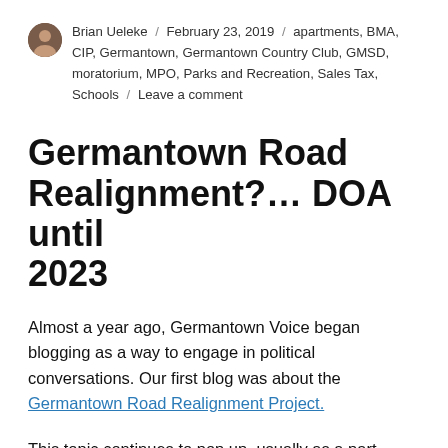Brian Ueleke / February 23, 2019 / apartments, BMA, CIP, Germantown, Germantown Country Club, GMSD, moratorium, MPO, Parks and Recreation, Sales Tax, Schools / Leave a comment
Germantown Road Realignment?... DOA until 2023
Almost a year ago, Germantown Voice began blogging as a way to engage in political conversations. Our first blog was about the Germantown Road Realignment Project.
This topic continues to pop up, usually as a part